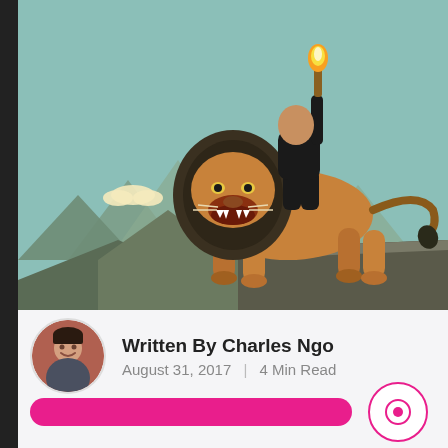[Figure (illustration): Flat illustration of a roaring lion standing on a cliff edge with a person riding it holding a torch, mountains and clouds in the background, teal sky]
Written By Charles Ngo
August 31, 2017 | 4 Min Read